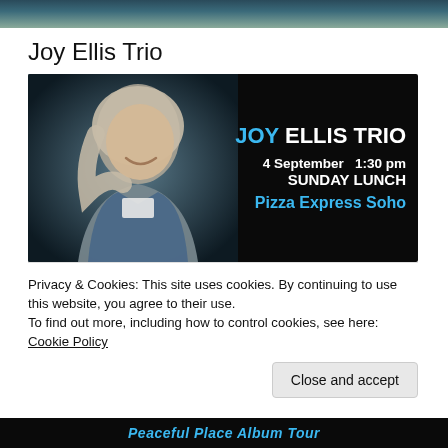[Figure (photo): Top banner strip with dark teal/greenish gradient background, partial event image visible]
Joy Ellis Trio
[Figure (photo): Event poster for Joy Ellis Trio: dark background with photo of smiling woman with grey-blonde hair in denim jacket on left side; right side text reads JOY ELLIS TRIO, 4 September 1:30 pm, SUNDAY LUNCH, Pizza Express Soho]
Privacy & Cookies: This site uses cookies. By continuing to use this website, you agree to their use.
To find out more, including how to control cookies, see here: Cookie Policy
Close and accept
Peaceful Place Album Tour